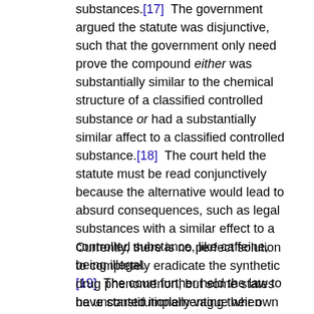substances.[17]  The government argued the statute was disjunctive, such that the government only need prove the compound either was substantially similar to the chemical structure of a classified controlled substance or had a substantially similar affect to a classified controlled substance.[18]  The court held the statute must be read conjunctively because the alternative would lead to absurd consequences, such as legal substances with a similar effect to a controlled substance, like caffeine, being illegal.[19]  The court further held the law to be unconstitutionally vague when applied to AET.[20]
Currently, there is no perfect solution to completely eradicate the synthetic drug phenomenon, but some states have started implementing their own synthetic analog drug laws.[21]  For example,